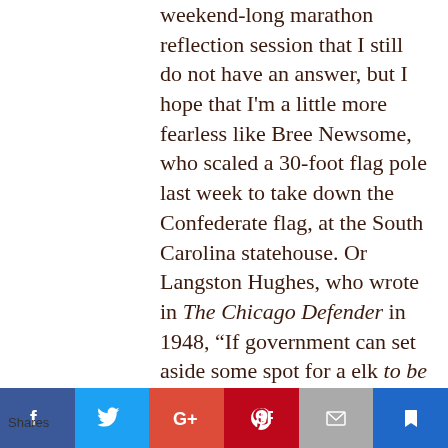weekend-long marathon reflection session that I still do not have an answer, but I hope that I'm a little more fearless like Bree Newsome, who scaled a 30-foot flag pole last week to take down the Confederate flag, at the South Carolina statehouse. Or Langston Hughes, who wrote in The Chicago Defender in 1948, “If government can set aside some spot for a elk to be a elk without being bothered, or a fish to be a fish without getting hooked, or a buffalo to be a buffalo without being shot down, there ought to be some place in
Shares | Facebook | Twitter | Google+ | Pinterest | Email | Bookmark